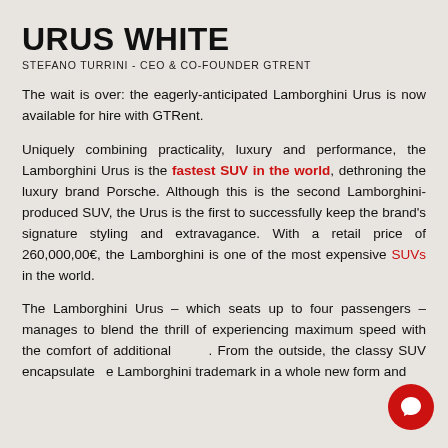URUS WHITE
STEFANO TURRINI - CEO & CO-FOUNDER GTRENT
The wait is over: the eagerly-anticipated Lamborghini Urus is now available for hire with GTRent.
Uniquely combining practicality, luxury and performance, the Lamborghini Urus is the fastest SUV in the world, dethroning the luxury brand Porsche. Although this is the second Lamborghini-produced SUV, the Urus is the first to successfully keep the brand's signature styling and extravagance. With a retail price of 260,000,00€, the Lamborghini is one of the most expensive SUVs in the world.
The Lamborghini Urus – which seats up to four passengers – manages to blend the thrill of experiencing maximum speed with the comfort of additional space. From the outside, the classy SUV encapsulates the Lamborghini trademark in a whole new form and